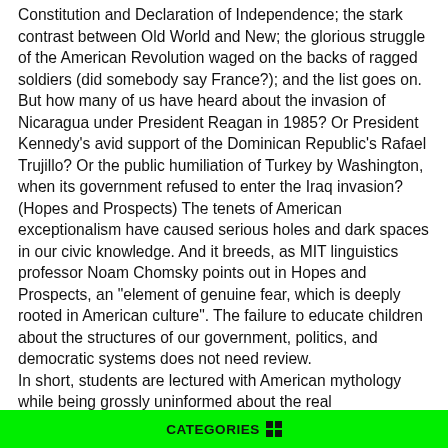Constitution and Declaration of Independence; the stark contrast between Old World and New; the glorious struggle of the American Revolution waged on the backs of ragged soldiers (did somebody say France?); and the list goes on. But how many of us have heard about the invasion of Nicaragua under President Reagan in 1985? Or President Kennedy's avid support of the Dominican Republic's Rafael Trujillo? Or the public humiliation of Turkey by Washington, when its government refused to enter the Iraq invasion? (Hopes and Prospects) The tenets of American exceptionalism have caused serious holes and dark spaces in our civic knowledge. And it breeds, as MIT linguistics professor Noam Chomsky points out in Hopes and Prospects, an "element of genuine fear, which is deeply rooted in American culture". The failure to educate children about the structures of our government, politics, and democratic systems does not need review.
In short, students are lectured with American mythology while being grossly uninformed about the real consequences of American actions on the global stage. The problem is not
CATEGORIES